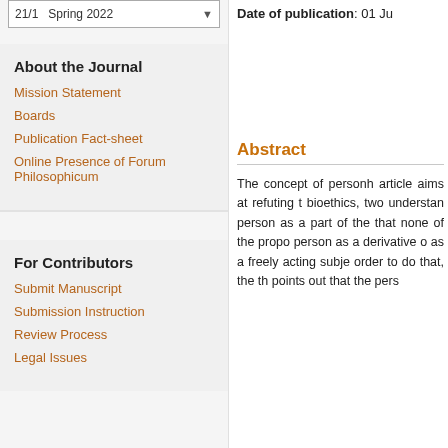21/1 · Spring 2022 ▼
About the Journal
Mission Statement
Boards
Publication Fact-sheet
Online Presence of Forum Philosophicum
For Contributors
Submit Manuscript
Submission Instruction
Review Process
Legal Issues
Date of publication: 01 Ju
Abstract
The concept of personh article aims at refuting t bioethics, two understan person as a part of the that none of the propo person as a derivative o as a freely acting subje order to do that, the th points out that the pers